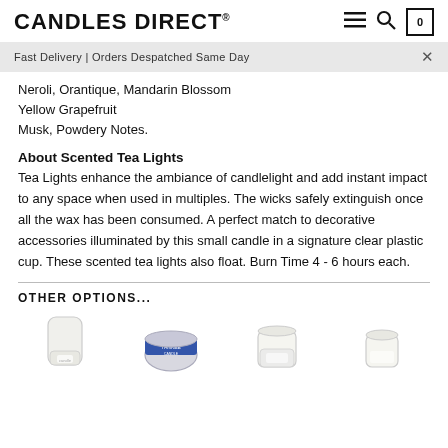CANDLES DIRECT®
Fast Delivery | Orders Despatched Same Day
Neroli, Orantique, Mandarin Blossom
Yellow Grapefruit
Musk, Powdery Notes.
About Scented Tea Lights
Tea Lights enhance the ambiance of candlelight and add instant impact to any space when used in multiples. The wicks safely extinguish once all the wax has been consumed. A perfect match to decorative accessories illuminated by this small candle in a signature clear plastic cup. These scented tea lights also float. Burn Time 4 - 6 hours each.
OTHER OPTIONS...
[Figure (photo): Four candle product thumbnails showing different candle options]